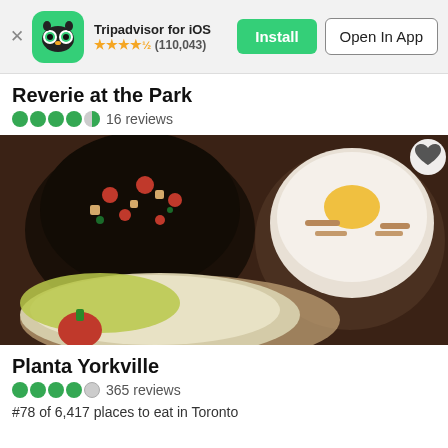[Figure (screenshot): Tripadvisor app banner with owl logo, install and open in app buttons, star rating 4.5 stars (110,043)]
Reverie at the Park
●●●●◐ 16 reviews
[Figure (photo): Food photo showing three dessert dishes on a wooden table: a black bowl with berries and nuts, a ceramic cup with shaved ice and mango, and a round plate with green cake slice and strawberry]
Planta Yorkville
●●●●○ 365 reviews
#78 of 6,417 places to eat in Toronto